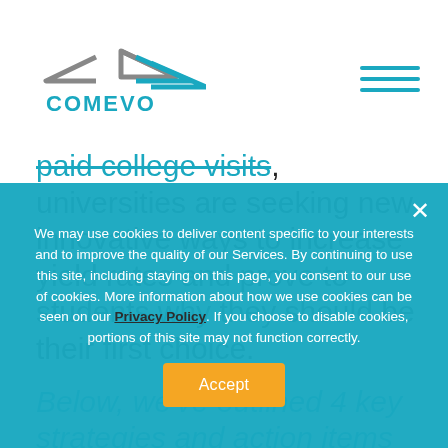COMEVO - COMMUNICATION EVOLVED
paid college visits, universities are seeking new innovative ways to increase yield rates and prove to students why they should be their first choice.
Below, we've outlined 4 key strategies and action items that can be integrated into yield marketing strategies in order to improve yield rate and strengthen the relationship between your institution and accepted students.
We may use cookies to deliver content specific to your interests and to improve the quality of our Services. By continuing to use this site, including staying on this page, you consent to our use of cookies. More information about how we use cookies can be seen on our Privacy Policy. If you choose to disable cookies, portions of this site may not function correctly.